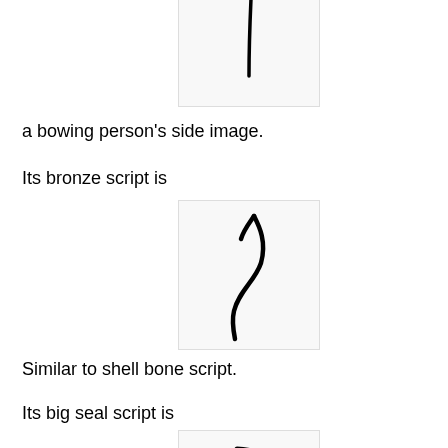[Figure (illustration): A box containing a thin vertical stroke resembling a shell bone script character for a bowing person]
a bowing person's side image.
Its bronze script is
[Figure (illustration): A box containing a bronze script character resembling a curved stroke with a tail, representing the character for a bowing person]
Similar to shell bone script.
Its big seal script is
[Figure (illustration): A box containing a big seal script character with an angular stroke and a descending line, representing the character for a bowing person]